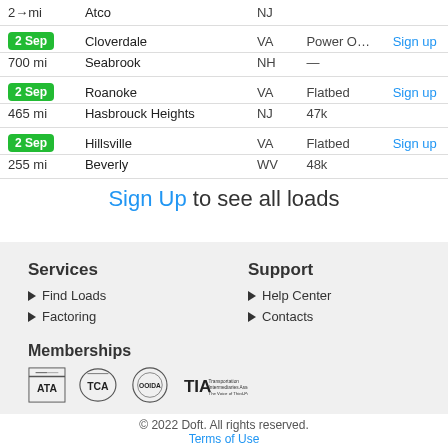| Date/Miles | City | State | Type | Action |
| --- | --- | --- | --- | --- |
| 2 Sep / 700 mi | Cloverdale / Seabrook | VA / NH | Power O… / — | Sign up |
| 2 Sep / 465 mi | Roanoke / Hasbrouck Heights | VA / NJ | Flatbed / 47k | Sign up |
| 2 Sep / 255 mi | Hillsville / Beverly | VA / WV | Flatbed / 48k | Sign up |
Sign Up to see all loads
Services
Find Loads
Factoring
Support
Help Center
Contacts
Memberships
[Figure (logo): Four membership logos: ATA, TCA, OOIDA, TIA]
© 2022 Doft. All rights reserved. Terms of Use